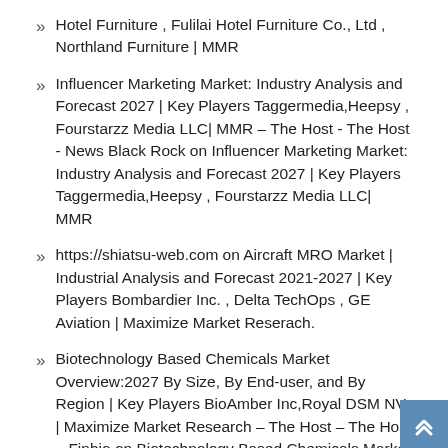Hotel Furniture , Fulilai Hotel Furniture Co., Ltd , Northland Furniture | MMR
Influencer Marketing Market: Industry Analysis and Forecast 2027 | Key Players Taggermedia,Heepsy , Fourstarzz Media LLC| MMR – The Host - The Host - News Black Rock on Influencer Marketing Market: Industry Analysis and Forecast 2027 | Key Players Taggermedia,Heepsy , Fourstarzz Media LLC| MMR
https://shiatsu-web.com on Aircraft MRO Market | Industrial Analysis and Forecast 2021-2027 | Key Players Bombardier Inc. , Delta TechOps , GE Aviation | Maximize Market Reserach.
Biotechnology Based Chemicals Market Overview:2027 By Size, By End-user, and By Region | Key Players BioAmber Inc,Royal DSM NV | Maximize Market Research – The Host – The Host – Finbio on Biotechnology Based Chemicals Market Overview:2027 By Size, By End-user, and By Region |